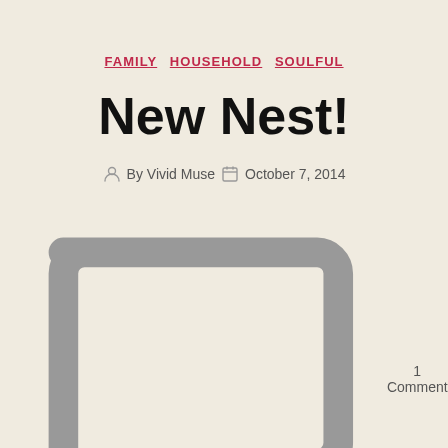FAMILY  HOUSEHOLD  SOULFUL
New Nest!
By Vivid Muse   October 7, 2014   1 Comment
Chooch and I have a wonderful opportunity and we will be moving at the end of this month to a new home we are making with Eldest/Naughty Bear/M and his wife, our daughter(-in-law), who is too cool to be believable. Seriously, she can even herd Eldest, it's glorious!